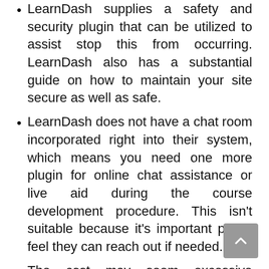LearnDash supplies a safety and security plugin that can be utilized to assist stop this from occurring. LearnDash also has a substantial guide on how to maintain your site secure as well as safe.
LearnDash does not have a chat room incorporated right into their system, which means you need one more plugin for online chat assistance or live aid during the course development procedure. This isn't suitable because it's important pupils feel they can reach out if needed.
The cost may seem excessive compared to many of the various